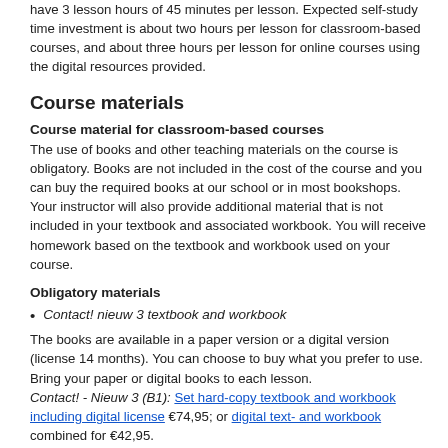have 3 lesson hours of 45 minutes per lesson. Expected self-study time investment is about two hours per lesson for classroom-based courses, and about three hours per lesson for online courses using the digital resources provided.
Course materials
Course material for classroom-based courses
The use of books and other teaching materials on the course is obligatory. Books are not included in the cost of the course and you can buy the required books at our school or in most bookshops. Your instructor will also provide additional material that is not included in your textbook and associated workbook. You will receive homework based on the textbook and workbook used on your course.
Obligatory materials
Contact! nieuw 3 textbook and workbook
The books are available in a paper version or a digital version (license 14 months). You can choose to buy what you prefer to use. Bring your paper or digital books to each lesson. Contact! - Nieuw 3 (B1): Set hard-copy textbook and workbook including digital license €74,95; or digital text- and workbook combined for €42,95.